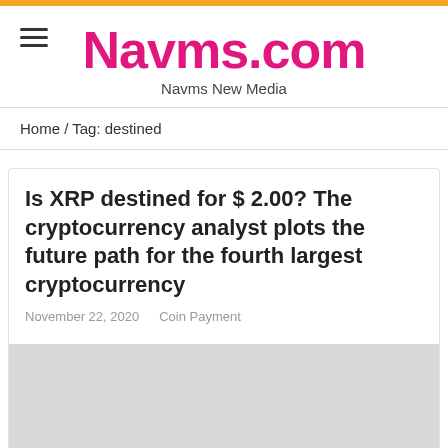Navms.com — Navms New Media
Home / Tag: destined
Is XRP destined for $ 2.00? The cryptocurrency analyst plots the future path for the fourth largest cryptocurrency
November 22, 2020   Coin Payment
[Figure (photo): Light gray placeholder image for the article]